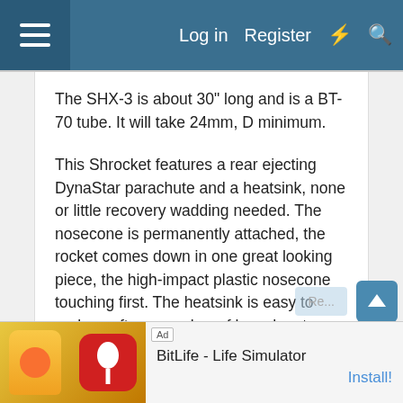Log in  Register
The SHX-3 is about 30" long and is a BT-70 tube. It will take 24mm, D minimum.

This Shrocket features a rear ejecting DynaStar parachute and a heatsink, none or little recovery wadding needed. The nosecone is permanently attached, the rocket comes down in one great looking piece, the high-impact plastic nosecone touching first. The heatsink is easy to replace after a number of launches too. This one is a real advance in mid-power rocket design.

shrox
[Figure (screenshot): Ad banner for BitLife - Life Simulator app with Install button]